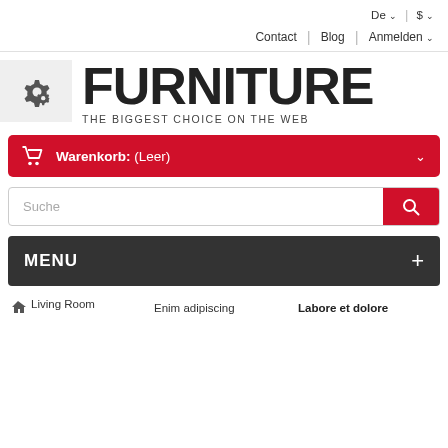De ▾  $ ▾
Contact | Blog | Anmelden ▾
FURNITURE
THE BIGGEST CHOICE ON THE WEB
Warenkorb: (Leer)
Suche
MENU
Living Room   Enim adipiscing   Labore et dolore